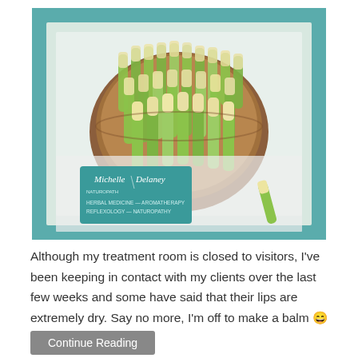[Figure (photo): Overhead photo of many green and yellow lip balm tubes in a wooden bowl, sitting on a white towel on a teal/turquoise background. A teal business card reading 'Michelle Delaney' with services listed (Herbal Medicine, Aromatherapy, Reflexology, Naturopathy) is visible in the lower left, and a single lip balm tube lies to the right of the bowl.]
Although my treatment room is closed to visitors, I've been keeping in contact with my clients over the last few weeks and some have said that their lips are extremely dry. Say no more, I'm off to make a balm 😄 I've been popping...
Continue Reading